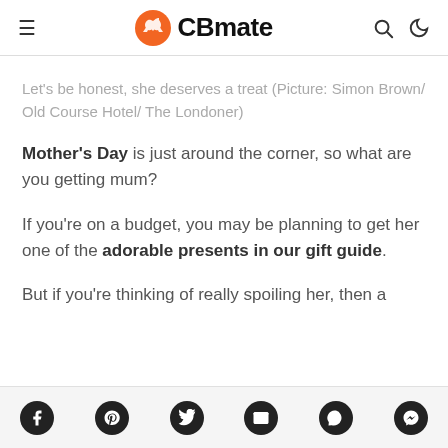CBmate
Let's be honest, she deserves a treat (Picture: Simon Brown/ Old Course Hotel/ The Londoner)
Mother's Day is just around the corner, so what are you getting mum?
If you're on a budget, you may be planning to get her one of the adorable presents in our gift guide.
But if you're thinking of really spoiling her, then a
Social share icons: Facebook, Pinterest, Twitter, Email, WhatsApp, Messenger